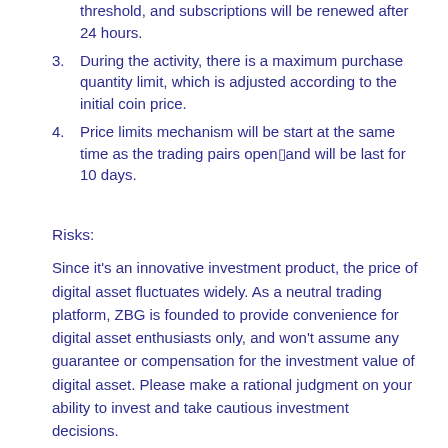threshold, and subscriptions will be renewed after 24 hours.
During the activity, there is a maximum purchase quantity limit, which is adjusted according to the initial coin price.
Price limits mechanism will be start at the same time as the trading pairs open▯and will be last for 10 days.
Risks:
Since it's an innovative investment product, the price of digital asset fluctuates widely. As a neutral trading platform, ZBG is founded to provide convenience for digital asset enthusiasts only, and won't assume any guarantee or compensation for the investment value of digital asset. Please make a rational judgment on your ability to invest and take cautious investment decisions.